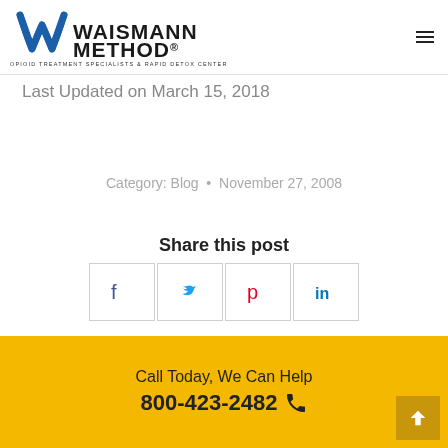Waismann Method - Opioid Treatment Specialists & Rapid Detox Center
Last Updated on March 15, 2018
Category: Blog • November 27, 2008
Share this post
[Figure (other): Social share buttons: Facebook, Twitter, Pinterest, LinkedIn]
Call Today, We Can Help
800-423-2482